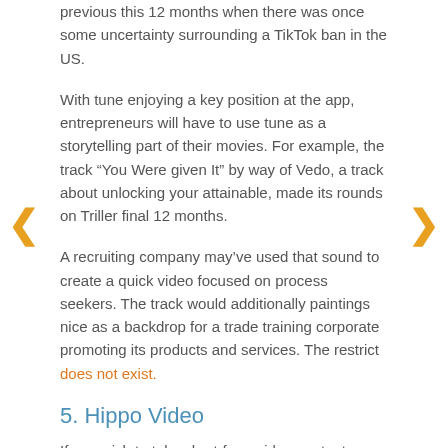previous this 12 months when there was once some uncertainty surrounding a TikTok ban in the US.
With tune enjoying a key position at the app, entrepreneurs will have to use tune as a storytelling part of their movies. For example, the track “You Were given It” by way of Vedo, a track about unlocking your attainable, made its rounds on Triller final 12 months.
A recruiting company may’ve used that sound to create a quick video focused on process seekers. The track would additionally paintings nice as a backdrop for a trade training corporate promoting its products and services. The restrict does not exist.
5. Hippo Video
If you wish to take short-form video content material past social media, there’s Hippo Video. The video advertising platform offers manufacturers a one-stop